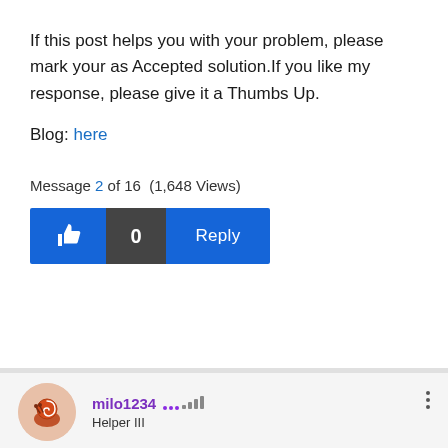If this post helps you with your problem, please mark your as Accepted solution.If you like my response, please give it a Thumbs Up.
Blog: here
Message 2 of 16 (1,648 Views)
[Figure (screenshot): Action buttons: thumbs up (blue), count 0 (dark grey), Reply (blue)]
[Figure (screenshot): User profile section: avatar with snail icon, username milo1234 with rank bars, Helper III label, three-dot menu]